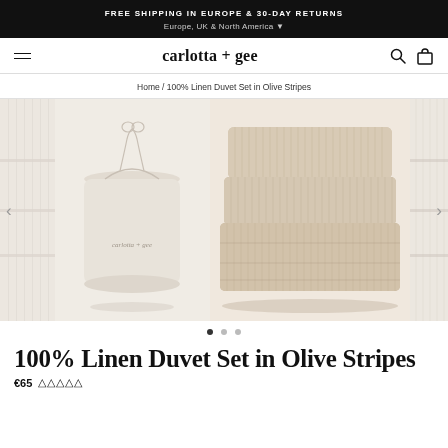FREE SHIPPING IN EUROPE & 30-DAY RETURNS
Europe, UK & North America ▾
[Figure (screenshot): Website navigation bar with hamburger menu on left, 'carlotta + gee' logo in center, search and bag icons on right]
Home / 100% Linen Duvet Set in Olive Stripes
[Figure (photo): Product image carousel showing: left partial view of folded striped linen, center-left a cream linen drawstring bag with 'carlotta + gee' text, center-right a stack of pillows and folded duvet in beige/tan pinstripe linen, right partial view of folded striped linen. Three navigation dots below with first dot active.]
100% Linen Duvet Set in Olive Stripes
€65